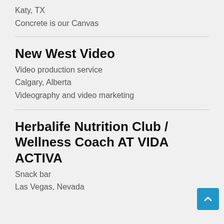Katy, TX
Concrete is our Canvas
New West Video
Video production service
Calgary, Alberta
Videography and video marketing
Herbalife Nutrition Club / Wellness Coach AT VIDA ACTIVA
Snack bar
Las Vegas, Nevada